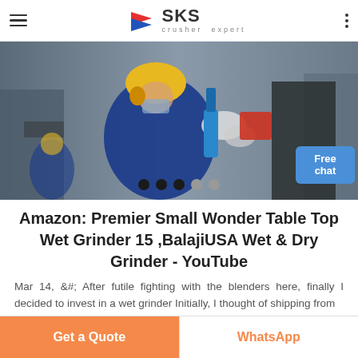SKS crusher expert
[Figure (photo): Worker in blue uniform and yellow hard hat using a blue power drill/grinder on industrial machinery in a factory setting. Carousel with 5 dots shown at bottom.]
Amazon: Premier Small Wonder Table Top Wet Grinder 15 ,BalajiUSA Wet & Dry Grinder - YouTube
Mar 14, &#; After futile fighting with the blenders here, finally I decided to invest in a wet grinder Initially, I thought of shipping from